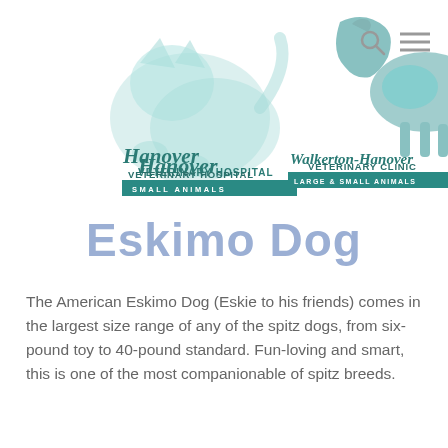[Figure (logo): Hanover Veterinary Hospital Small Animals logo with teal animal silhouettes]
[Figure (logo): Walkerton-Hanover Veterinary Clinic Large & Small Animals logo with teal horse and animal silhouettes]
Eskimo Dog
The American Eskimo Dog (Eskie to his friends) comes in the largest size range of any of the spitz dogs, from six-pound toy to 40-pound standard. Fun-loving and smart, this is one of the most companionable of spitz breeds.
[Figure (logo): Paw print icon button (dark grey square with white paw)]
[Figure (illustration): Accessibility icons: wheelchair and double left arrow]
[Figure (photo): Photo of a dog (appears to be a beagle-type) standing, partially visible at bottom right]